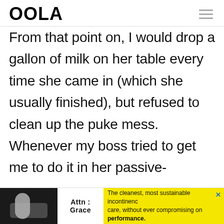OOLA
From that point on, I would drop a gallon of milk on her table every time she came in (which she usually finished), but refused to clean up the puke mess. Whenever my boss tried to get me to do it in her passive-aggressive way, I'd say, 'Maybe we shouldn't offer unlimited
[Figure (infographic): Advertisement banner for Attn: Grace incontinence care products. Shows partial image of a person on dark background on the left, Attn: Grace logo in center, and yellow background with text: 'The cleanest, most sustainable incontinence care, without ever compromising on performance.' An X close button is visible.]